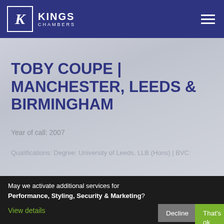KINGS CHAMBERS
TOBY COUPE | MANCHESTER, LEEDS & BIRMINGHAM
Year of call: 2007
Qualifications: Degree: University of Leeds, LLB (Hons) | BVC:
May we activate additional services for Performance, Styling, Security & Marketing?
View details
Decline
That's ok